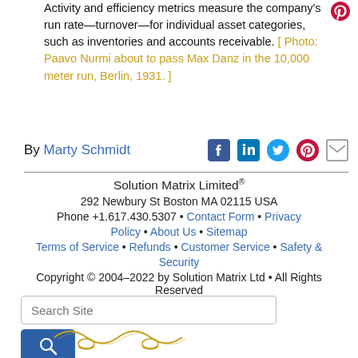Activity and efficiency metrics measure the company's run rate—turnover—for individual asset categories, such as inventories and accounts receivable. [ Photo: Paavo Nurmi about to pass Max Danz in the 10,000 meter run, Berlin, 1931. ]
By Marty Schmidt
Solution Matrix Limited® 292 Newbury St Boston MA 02115 USA Phone +1.617.430.5307 • Contact Form • Privacy Policy • About Us • Sitemap Terms of Service • Refunds • Customer Service • Safety & Security Copyright © 2004–2022 by Solution Matrix Ltd • All Rights Reserved